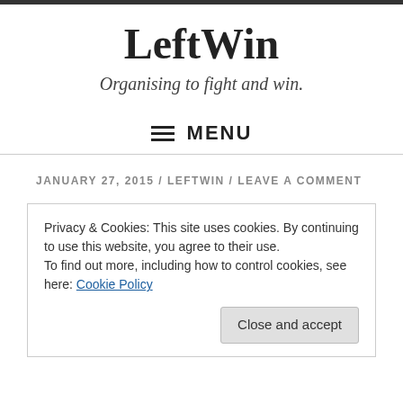LeftWin
Organising to fight and win.
≡ MENU
JANUARY 27, 2015 / LEFTWIN / LEAVE A COMMENT
Privacy & Cookies: This site uses cookies. By continuing to use this website, you agree to their use.
To find out more, including how to control cookies, see here: Cookie Policy
Close and accept